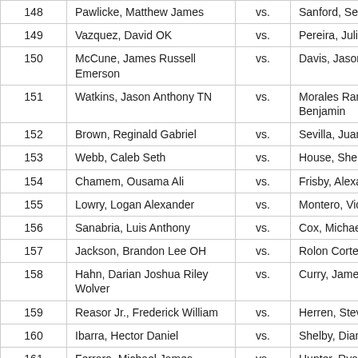| # | Name | vs. | Opponent |
| --- | --- | --- | --- |
| 148 | Pawlicke, Matthew James | vs. | Sanford, Sean Alexa… |
| 149 | Vazquez, David OK | vs. | Pereira, Julio Cesar |
| 150 | McCune, James Russell Emerson | vs. | Davis, Jason lynn |
| 151 | Watkins, Jason Anthony TN | vs. | Morales Ramirez, Gu… Benjamin |
| 152 | Brown, Reginald Gabriel | vs. | Sevilla, Juan |
| 153 | Webb, Caleb Seth | vs. | House, Shemar Sha… |
| 154 | Chamem, Ousama Ali | vs. | Frisby, Alexander Dr… |
| 155 | Lowry, Logan Alexander | vs. | Montero, Victor Hugo |
| 156 | Sanabria, Luis Anthony | vs. | Cox, Michael Samue… |
| 157 | Jackson, Brandon Lee OH | vs. | Rolon Cortes, Joshua |
| 158 | Hahn, Darian Joshua Riley Wolver | vs. | Curry, James Allen |
| 159 | Reasor Jr., Frederick William | vs. | Herren, Steven Riley |
| 160 | Ibarra, Hector Daniel | vs. | Shelby, Diante Terrel… |
| 161 | Ferraro, Michael James | vs. | Hunter, Ryan Kennet… |
| 162 | Glasgow Jr., Terrence Dwayne | vs. | Leach, Jermaine Tim… |
| 163 | Reeder, Christopher Lynn | vs. | Kranker, Trenton Gab… |
| 164 | Couch, Dominic Eduardo | vs. | Lawson, Devin Josep… |